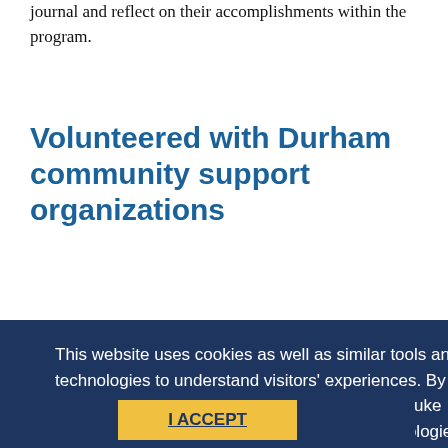journal and reflect on their accomplishments within the program.
Volunteered with Durham community support organizations
"Aid, Charity, and the Politics of Giving," Instructor: Dr. Salba Varma, Spring 2014
Students in this course examined different ways that people help others, including through acts of religious charity, philanthropy, and the professional work of humanitarianism. Students spent twenty hours during the semester volunteering with The Durham Rescue Mission, Urban Ministries of Durham, Housing for New Hope, Genesis Home, or Society for St. Andrews. Students kept a journal of these field visits and
This website uses cookies as well as similar tools and technologies to understand visitors' experiences. By continuing to use this website, you consent to Duke University's usage of cookies and similar technologies, in accordance with the Duke Privacy Statement.
I ACCEPT